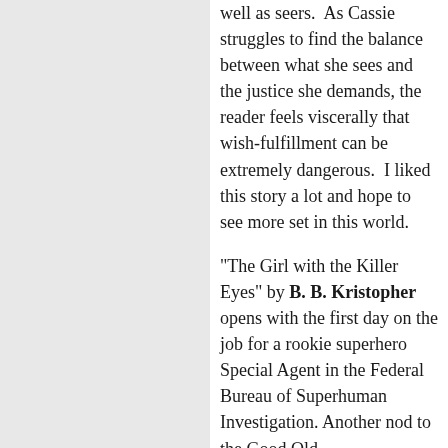well as seers.  As Cassie struggles to find the balance between what she sees and the justice she demands, the reader feels viscerally that wish-fulfillment can be extremely dangerous.  I liked this story a lot and hope to see more set in this world.
"The Girl with the Killer Eyes" by B. B. Kristopher opens with the first day on the job for a rookie superhero Special Agent in the Federal Bureau of Superhuman Investigation.  Another nod to the Good Old